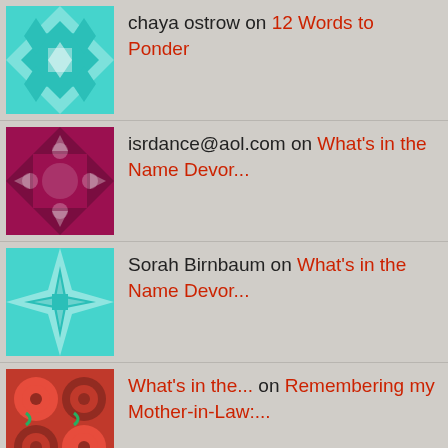chaya ostrow on 12 Words to Ponder
isrdance@aol.com on What's in the Name Devor...
Sorah Birnbaum on What's in the Name Devor...
What's in the... on Remembering my Mother-in-Law:...
Gila Weinstein on Finding the Divine in the Diff...
Renee Roth on Finding the Divine in the Diff...
Jewish Young Profess... on Finding the Divine in the Diff...
Sorah Birnbaum on Finding the Divine in the Diff...
Tilly Lichtschein on Finding the Divine